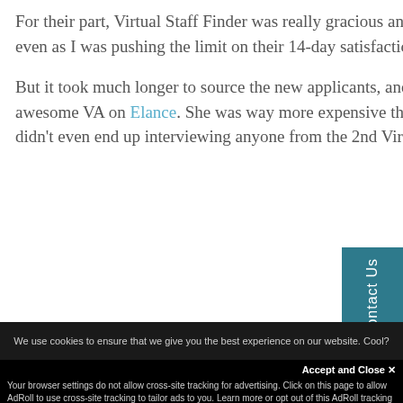For their part, Virtual Staff Finder was really gracious and offered to find some new candidates for me, even as I was pushing the limit on their 14-day satisfaction guarantee.

But it took much longer to source the new applicants, and by the time I got the new list, I already found an awesome VA on Elance. She was way more expensive than the Philippines, but I'm happy with the hire. I didn't even end up interviewing anyone from the 2nd Virtual Staff Finder list.
We use cookies to ensure that we give you the best experience on our website. Cool?
Accept and Close ✕
Your browser settings do not allow cross-site tracking for advertising. Click on this page to allow AdRoll to use cross-site tracking to tailor ads to you. Learn more or opt out of this AdRoll tracking by clicking here. This message only appears once.